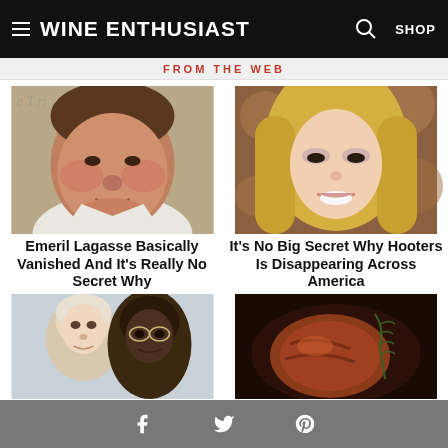Wine Enthusiast — SHOP
FROM THE WEB
[Figure (photo): Headshot of Emeril Lagasse, a middle-aged man in white chef attire]
Emeril Lagasse Basically Vanished And It's Really No Secret Why
[Figure (photo): Young blonde woman smiling at the camera]
It's No Big Secret Why Hooters Is Disappearing Across America
[Figure (photo): Martha Stewart and Snoop Dogg together, both smiling]
[Figure (photo): A piece of meat with rosemary garnish on dark background]
Facebook  Twitter  Pinterest